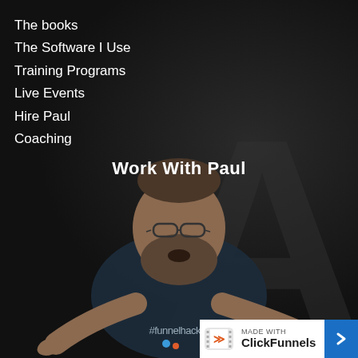The books
The Software I Use
Training Programs
Live Events
Hire Paul
Coaching
Work With Paul
[Figure (photo): A bearded man wearing a dark #funnelhacker t-shirt pointing at the viewer with both hands, standing against a dark textured background]
#funnelhacker
[Figure (logo): ClickFunnels badge: 'made with ClickFunnels' with logo icon and blue arrow button]